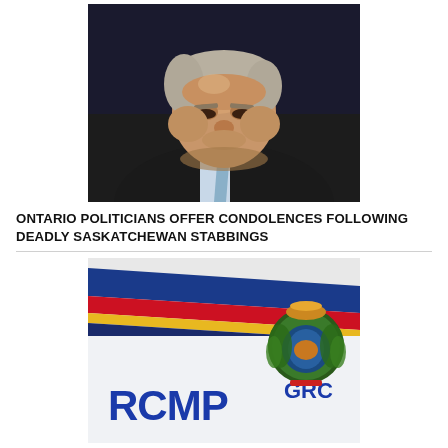[Figure (photo): Close-up portrait of a middle-aged man with grey-blond hair wearing a dark suit and light blue tie, looking downward with a serious expression against a dark background.]
ONTARIO POLITICIANS OFFER CONDOLENCES FOLLOWING DEADLY SASKATCHEWAN STABBINGS
[Figure (photo): Close-up of an RCMP (Royal Canadian Mounted Police) police car door showing the RCMP GRC logo and crest with blue, red, yellow, and navy stripes.]
SASKATCHEWAN RCMP LOOKING FOR SUSPECTS AFTER SHOOTING ON FIRST